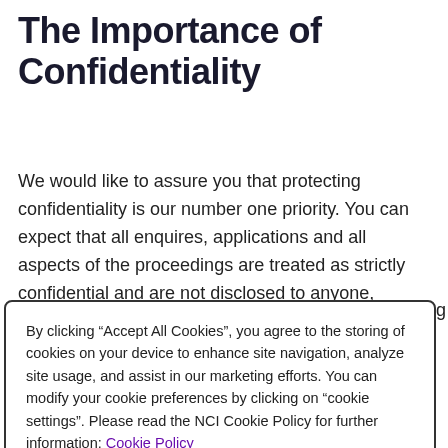The Importance of Confidentiality
We would like to assure you that protecting confidentiality is our number one priority. You can expect that all enquires, applications and all aspects of the proceedings are treated as strictly confidential and are not disclosed to anyone, outside those directly involved in that aspect of the
By clicking “Accept All Cookies”, you agree to the storing of cookies on your device to enhance site navigation, analyze site usage, and assist in our marketing efforts. You can modify your cookie preferences by clicking on “cookie settings”. Please read the NCI Cookie Policy for further information: Cookie Policy
Accept All Cookies
Only Accept Strictly Necessary
Cookies Settings